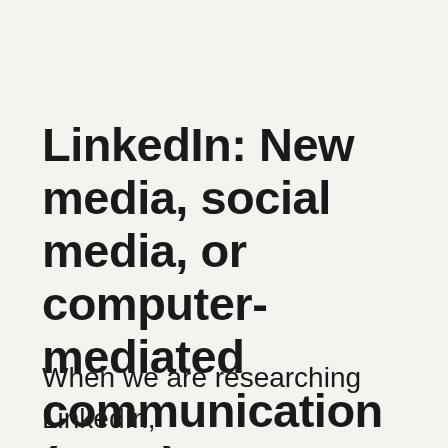LinkedIn: New media, social media, or computer-mediated communication (CMC)?
When we are researching LinkedIn, are we researching new media,